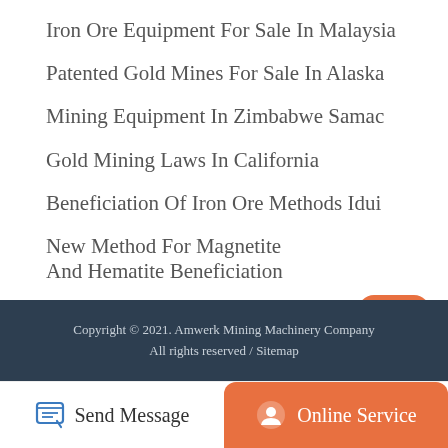Iron Ore Equipment For Sale In Malaysia
Patented Gold Mines For Sale In Alaska
Mining Equipment In Zimbabwe Samac
Gold Mining Laws In California
Beneficiation Of Iron Ore Methods Idui
New Method For Magnetite And Hematite Beneficiation
Liquid Mercury For Gold Mining
Placer Gold Mining Wash Plant For Sale
Copyright © 2021. Amwerk Mining Machinery Company
All rights reserved / Sitemap